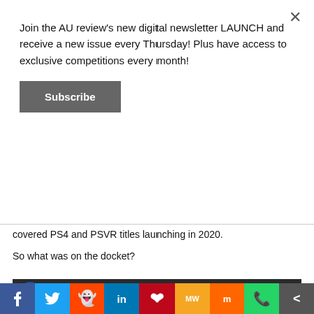Join the AU review's new digital newsletter LAUNCH and receive a new issue every Thursday! Plus have access to exclusive competitions every month!
Subscribe
covered PS4 and PSVR titles launching in 2020.
So what was on the docket?
[Figure (screenshot): YouTube video thumbnail for 'State of Play | 10th December 2019' showing PlayStation logo and 'State of Play' text on blue background]
[Figure (infographic): Social media sharing bar with icons for Facebook, Twitter, Reddit, LinkedIn, Pinterest, MeWe, Mix, WhatsApp, and Share]